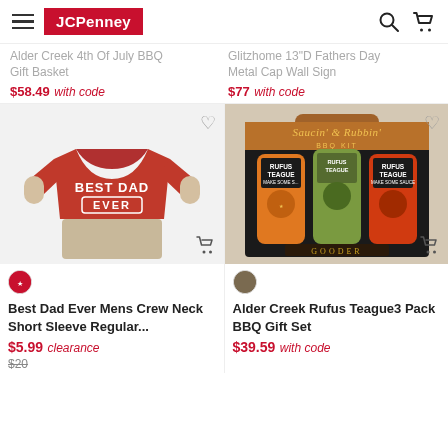JCPenney
Alder Creek 4th Of July BBQ Gift Basket — $58.49 with code
Glitzhome 13"D Fathers Day Metal Cap Wall Sign — $77 with code
[Figure (photo): Man wearing red Best Dad Ever crew neck t-shirt]
[Figure (photo): Alder Creek Rufus Teague 3 Pack BBQ Gift Set box with Rufus Teague sauce bottles]
Best Dad Ever Mens Crew Neck Short Sleeve Regular...
$5.99 clearance
$20
Alder Creek Rufus Teague3 Pack BBQ Gift Set
$39.59 with code